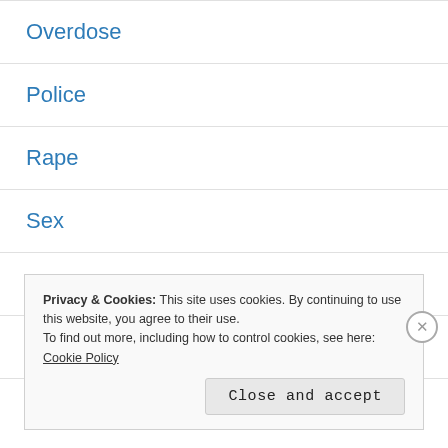Overdose
Police
Rape
Sex
Thriller
Uncategorized
Privacy & Cookies: This site uses cookies. By continuing to use this website, you agree to their use.
To find out more, including how to control cookies, see here: Cookie Policy
Close and accept